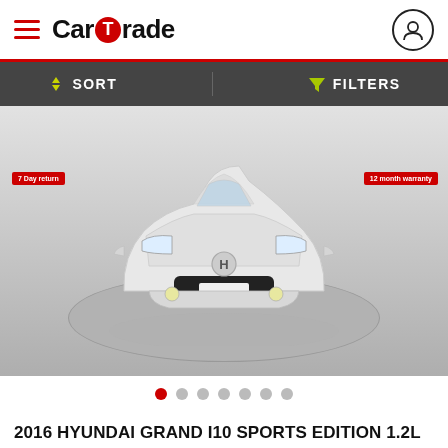CarTrade
SORT   FILTERS
[Figure (photo): Front view of a white 2016 Hyundai Grand i10 Sports Edition on a grey circular turntable in a studio setting. Red badge on left reads '7 Day return', red badge on right reads '12 month warranty'.]
● ○ ○ ○ ○ ○ ○ (image carousel dots)
2016 HYUNDAI GRAND I10 SPORTS EDITION 1.2L KAPPA VTVT